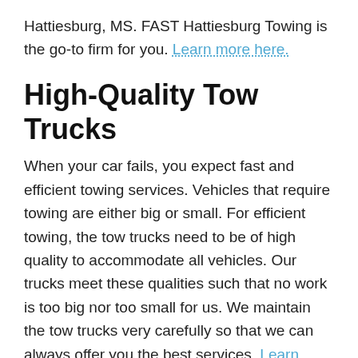Hattiesburg, MS. FAST Hattiesburg Towing is the go-to firm for you. Learn more here.
High-Quality Tow Trucks
When your car fails, you expect fast and efficient towing services. Vehicles that require towing are either big or small. For efficient towing, the tow trucks need to be of high quality to accommodate all vehicles. Our trucks meet these qualities such that no work is too big nor too small for us. We maintain the tow trucks very carefully so that we can always offer you the best services. Learn more about FAST Hattiesburg Towing: The Leading Firm of Tow